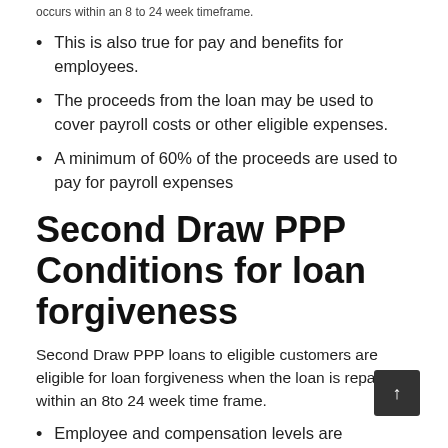occurs within an 8 to 24 week timeframe.
This is also true for pay and benefits for employees.
The proceeds from the loan may be used to cover payroll costs or other eligible expenses.
A minimum of 60% of the proceeds are used to pay for payroll expenses
Second Draw PPP Conditions for loan forgiveness
Second Draw PPP loans to eligible customers are eligible for loan forgiveness when the loan is repaid within an 8to 24 week time frame.
Employee and compensation levels are maintained in the